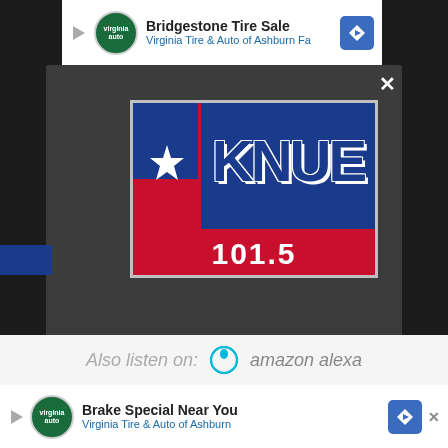[Figure (screenshot): Screenshot of a webpage showing a modal popup for KNUE 101.5 radio station app download, with Bridgestone/Virginia Tire & Auto ads at top and bottom, a KNUE 101.5 logo in the modal, a red 'GET OUR FREE MOBILE APP' button, and 'Also listen on: amazon alexa' text.]
Bridgestone Tire Sale
Virginia Tire & Auto of Ashburn Fa
KNUE 101.5
DOWNLOAD THE 101.5 KNUE MOBILE APP
GET OUR FREE MOBILE APP
Also listen on:  amazon alexa
Brake Special Near You
Virginia Tire & Auto of Ashburn